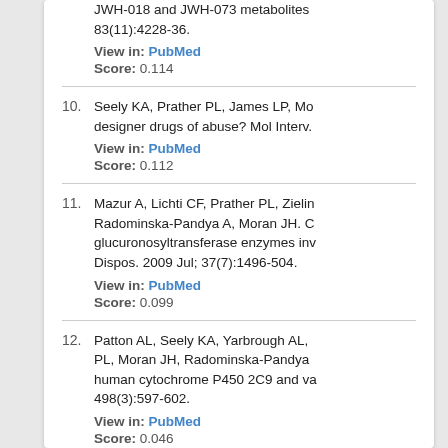JWH-018 and JWH-073 metabolites... 83(11):4228-36. View in: PubMed Score: 0.114
10. Seely KA, Prather PL, James LP, Mo... designer drugs of abuse? Mol Interv. View in: PubMed Score: 0.112
11. Mazur A, Lichti CF, Prather PL, Zielin... Radominska-Pandya A, Moran JH. C... glucuronosyltransferase enzymes inv... Dispos. 2009 Jul; 37(7):1496-504. View in: PubMed Score: 0.099
12. Patton AL, Seely KA, Yarbrough AL, ... PL, Moran JH, Radominska-Pandya... human cytochrome P450 2C9 and va... 498(3):597-602. View in: PubMed Score: 0.046